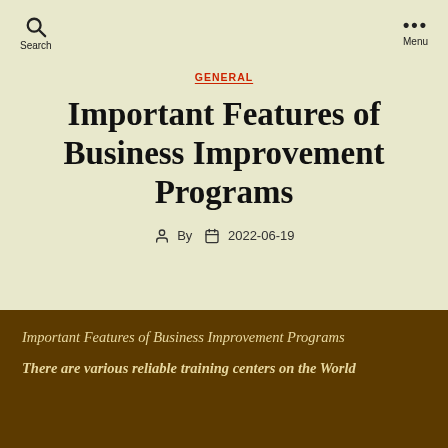Search  Menu
GENERAL
Important Features of Business Improvement Programs
By  2022-06-19
Important Features of Business Improvement Programs
There are various reliable training centers on the World